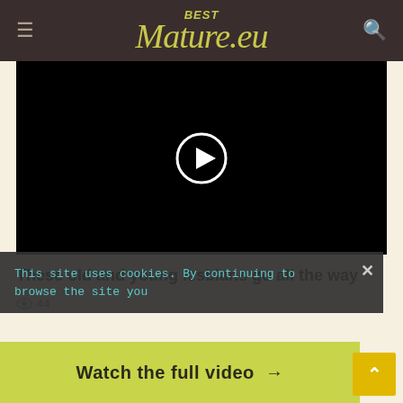BestMature.eu
[Figure (screenshot): Black video player area with a circular play button in the center]
These old and young lesbians go all the way
44 (views)
This site uses cookies. By continuing to browse the site you
Watch the full video →